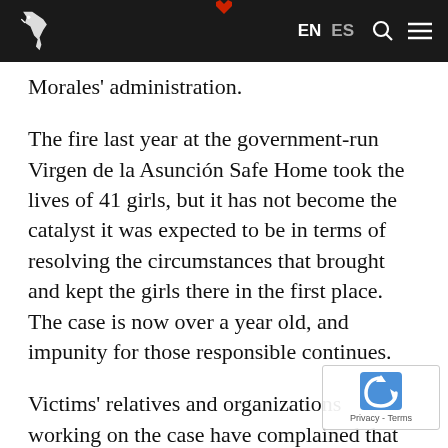EN ES [search] [menu]
Morales' administration.
The fire last year at the government-run Virgen de la Asunción Safe Home took the lives of 41 girls, but it has not become the catalyst it was expected to be in terms of resolving the circumstances that brought and kept the girls there in the first place. The case is now over a year old, and impunity for those responsible continues.
Victims' relatives and organizations working on the case have complained that Attorney General Thelma Aldana has only held one hearing on it and has shifted responsibility for it to he—